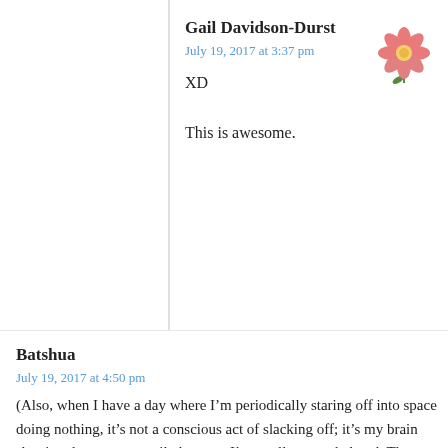Gail Davidson-Durst
July 19, 2017 at 3:37 pm
XD

This is awesome.
[Figure (illustration): Pink flower / daisy illustration used as avatar]
Batshua
July 19, 2017 at 4:50 pm
(Also, when I have a day where I’m periodically staring off into space doing nothing, it’s not a conscious act of slacking off; it’s my brain shutting down temporarily because I’m totally overwhelmed. The way to fix that would be to remove the insane pressure and have reasonable expectations of our abilities. I have not yet figured out how to tell my boss that I’ve become CLOSE efficient because I am stressed beyond reason. I honestly don’t think she’d hear it if I said it, so